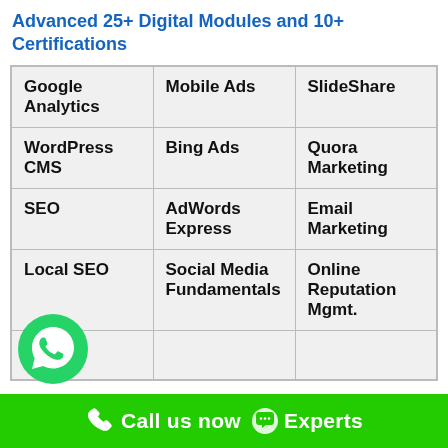Advanced 25+ Digital Modules and 10+ Certifications
| Google Analytics | Mobile Ads | SlideShare |
| WordPress CMS | Bing Ads | Quora Marketing |
| SEO | AdWords Express | Email Marketing |
| Local SEO | Social Media Fundamentals | Online Reputation Mgmt. |
| … | … | … |
Call us now  Experts